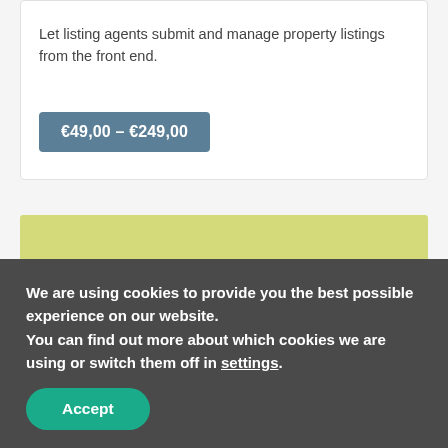Let listing agents submit and manage property listings from the front end.
€49,00 – €249,00
[Figure (other): Yellow-green rectangular placeholder block]
We are using cookies to provide you the best possible experience on our website.
You can find out more about which cookies we are using or switch them off in settings.
Accept